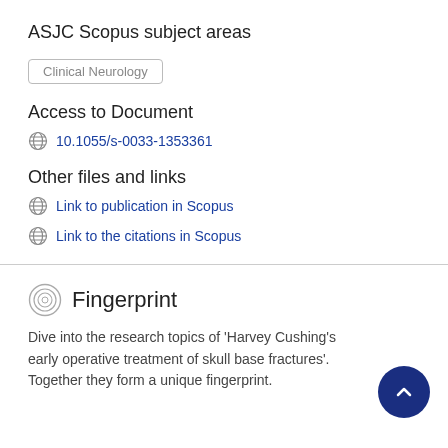ASJC Scopus subject areas
Clinical Neurology
Access to Document
10.1055/s-0033-1353361
Other files and links
Link to publication in Scopus
Link to the citations in Scopus
Fingerprint
Dive into the research topics of 'Harvey Cushing's early operative treatment of skull base fractures'. Together they form a unique fingerprint.